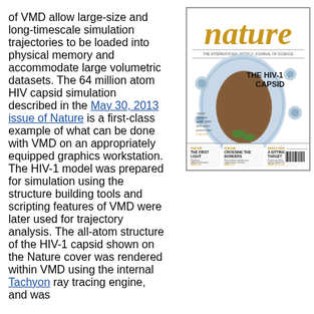of VMD allow large-size and long-timescale simulation trajectories to be loaded into physical memory and accommodate large volumetric datasets. The 64 million atom HIV capsid simulation described in the May 30, 2013 issue of Nature is a first-class example of what can be done with VMD on an appropriately equipped graphics workstation. The HIV-1 model was prepared for simulation using the structure building tools and scripting features of VMD were later used for trajectory analysis. The all-atom structure of the HIV-1 capsid shown on the Nature cover was rendered within VMD using the internal Tachyon ray tracing engine, and was
[Figure (photo): Cover of Nature magazine, May 30 2013 issue, featuring 'THE HIV-1 CAPSID' with an image of the atomic structure of the AIDS pathogen's protein coat. Gold 'nature' masthead at top. Features section includes 'THE FIRST LIGHT', 'CROSSING THE BORDERS', and 'A SITTING TARGET'.]